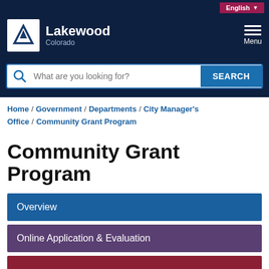[Figure (logo): Lakewood Colorado city logo with white triangle/mountain icon in white box]
Lakewood Colorado — Menu
What are you looking for? SEARCH
Home / Government / Departments / City Manager's Office / Community Grant Program
Community Grant Program
Overview
Online Application & Evaluation